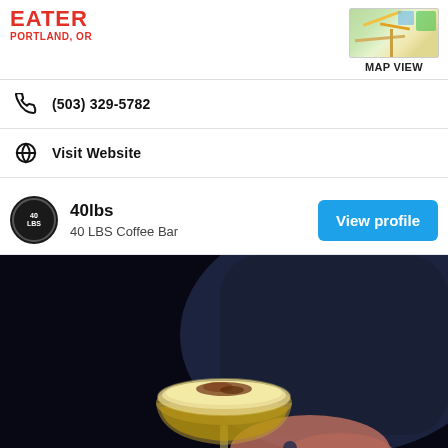EATER PORTLAND, OR
(503) 329-5782
Visit Website
40lbs
40 LBS Coffee Bar
[Figure (photo): A hand holding a coupe glass with a foamy espresso drink topped with cocoa powder, photographed against a dark background]
[Figure (map): Small map thumbnail showing map view]